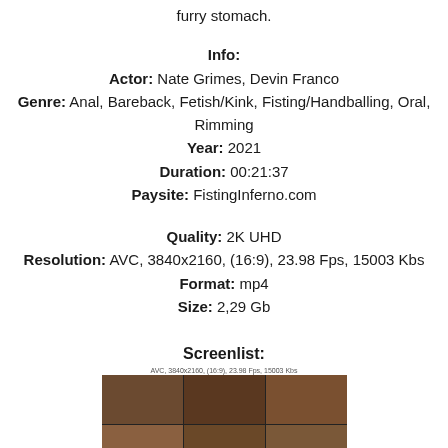furry stomach.
Info:
Actor: Nate Grimes, Devin Franco
Genre: Anal, Bareback, Fetish/Kink, Fisting/Handballing, Oral, Rimming
Year: 2021
Duration: 00:21:37
Paysite: FistingInferno.com
Quality: 2K UHD
Resolution: AVC, 3840x2160, (16:9), 23.98 Fps, 15003 Kbs
Format: mp4
Size: 2,29 Gb
Screenlist:
[Figure (screenshot): Grid of video screenshot thumbnails]